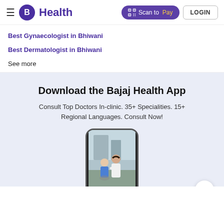Bajaj Health — Navigation bar with logo, Scan to Pay button, LOGIN button
Best Gynaecologist in Bhiwani
Best Dermatologist in Bhiwani
See more
Download the Bajaj Health App
Consult Top Doctors In-clinic. 35+ Specialities. 15+ Regional Languages. Consult Now!
[Figure (photo): Smartphone mockup showing a doctor helping a patient outdoors, promoting the Bajaj Health App]